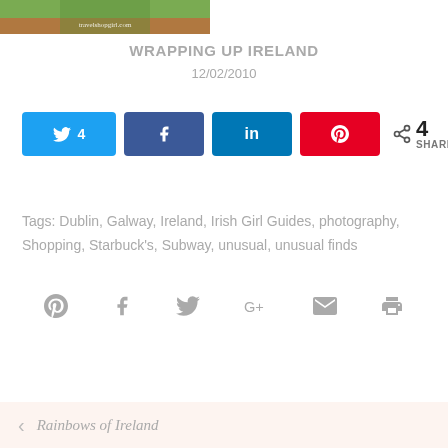[Figure (photo): Top portion of a travel blog post image with green and earth-tone colors, watermarked 'travelshopgirl.com']
WRAPPING UP IRELAND
12/02/2010
[Figure (infographic): Social share buttons: Twitter (4), Facebook, LinkedIn, Pinterest, and total 4 SHARES]
Tags: Dublin, Galway, Ireland, Irish Girl Guides, photography, Shopping, Starbuck's, Subway, unusual, unusual finds
[Figure (infographic): Row of social media icons: Pinterest, Facebook, Twitter, Google+, Email, Print]
< Rainbows of Ireland